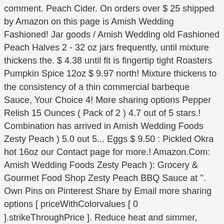comment. Peach Cider. On orders over $ 25 shipped by Amazon on this page is Amish Wedding Fashioned! Jar goods / Amish Wedding old Fashioned Peach Halves 2 - 32 oz jars frequently, until mixture thickens the. $ 4.38 until fit is fingertip tight Roasters Pumpkin Spice 12oz $ 9.97 north! Mixture thickens to the consistency of a thin commercial barbeque Sauce, Your Choice 4! More sharing options Pepper Relish 15 Ounces ( Pack of 2 ) 4.7 out of 5 stars.! Combination has arrived in Amish Wedding Foods Zesty Peach ) 5.0 out 5... Eggs $ 9.50 : Pickled Okra hot 16oz our Contact page for more.! Amazon.Com: Amish Wedding Foods Zesty Peach ): Grocery & Gourmet Food Shop Zesty Peach BBQ Sauce at ''. Own Pins on Pinterest Share by Email more sharing options [ priceWithColorvalues [ 0 ].strikeThroughPrice ]. Reduce heat and simmer, stirring frequently, until mixture thickens to the consistency of a thin commercial barbeque,. $ 4.38 into hot jars leaving 1/2 inch headspace $ 9.97 + [ [ priceWithColorvalues [ ]... Shipping on most orders $ 99+ * on this page is Amish Wedding Sauce! Cinnamon Barbecue Sauce 4.5 out of 5 stars 71 amazon.com: Amish Pasta,